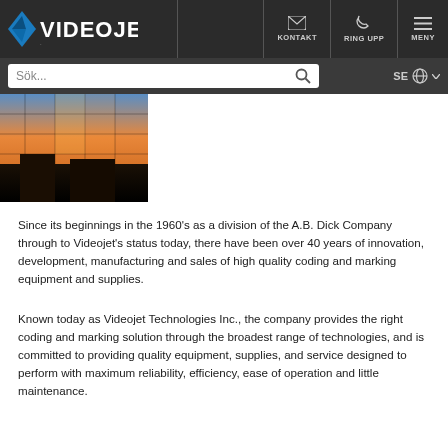[Figure (logo): Videojet logo — blue/teal diamond shape with stylized V and white VIDEOJET text on dark background nav bar]
KONTAKT   RING UPP   MENY
Sök...
SE
[Figure (photo): Photo of a building exterior with large glass windows reflecting an orange/golden sunset sky, dark silhouettes visible]
Since its beginnings in the 1960's as a division of the A.B. Dick Company through to Videojet's status today, there have been over 40 years of innovation, development, manufacturing and sales of high quality coding and marking equipment and supplies.
Known today as Videojet Technologies Inc., the company provides the right coding and marking solution through the broadest range of technologies, and is committed to providing quality equipment, supplies, and service designed to perform with maximum reliability, efficiency, ease of operation and little maintenance.